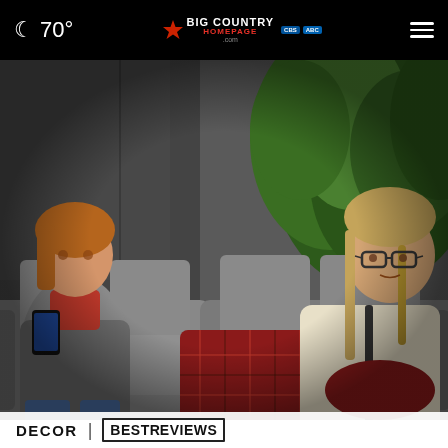🌙 70° | Big Country Homepage.com | CBS ABC | ☰
[Figure (photo): Two young women sitting on a grey outdoor sofa with cushions. The woman on the left is looking at a phone, wearing a grey hoodie. The woman on the right wears glasses and a cream sweater, holding a red plaid blanket. There is green hedge foliage in the background.]
DECOR | BESTREVIEWS